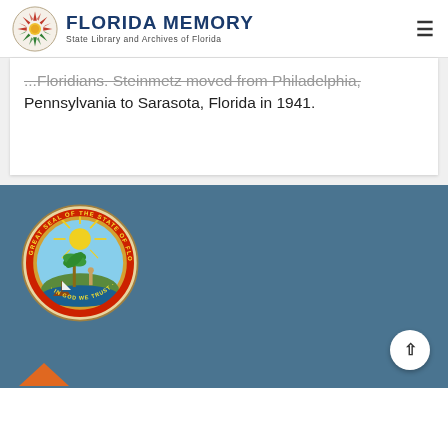[Figure (logo): Florida Memory logo - State Library and Archives of Florida, with decorative sunburst compass rose medallion]
...Floridians. Steinmetz moved from Philadelphia, Pennsylvania to Sarasota, Florida in 1941.
[Figure (logo): Great Seal of the State of Florida - circular seal with state imagery and text 'GREAT SEAL OF THE STATE OF FLORIDA' and 'IN GOD WE TRUST']
[Figure (logo): Partial orange book logo at bottom]